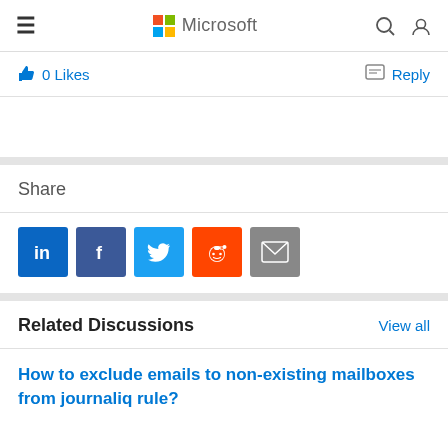Microsoft
0 Likes   Reply
Share
[Figure (infographic): Social share buttons: LinkedIn, Facebook, Twitter, Reddit, Email]
Related Discussions   View all
How to exclude emails to non-existing mailboxes from journaliq rule?